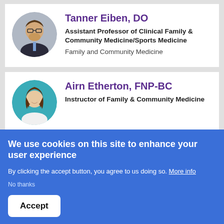[Figure (photo): Circular headshot of Tanner Eiben, a man with glasses and a beard wearing a dark suit and blue tie]
Tanner Eiben, DO
Assistant Professor of Clinical Family & Community Medicine/Sports Medicine
Family and Community Medicine
[Figure (photo): Circular headshot of Airn Etherton, a woman with brown shoulder-length hair wearing a white top against a teal background]
Airn Etherton, FNP-BC
Instructor of Family & Community Medicine
We use cookies on this site to enhance your user experience
By clicking the accept button, you agree to us doing so. More info
No thanks